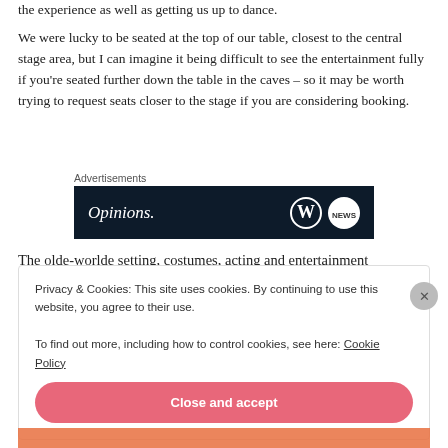the experience as well as getting us up to dance.
We were lucky to be seated at the top of our table, closest to the central stage area, but I can imagine it being difficult to see the entertainment fully if you’re seated further down the table in the caves – so it may be worth trying to request seats closer to the stage if you are considering booking.
Advertisements
[Figure (screenshot): Advertisement banner with dark navy background showing 'Opinions.' in italic white text and WordPress/news icons on the right]
The olde-worlde setting, costumes, acting and entertainment
Privacy & Cookies: This site uses cookies. By continuing to use this website, you agree to their use.
To find out more, including how to control cookies, see here: Cookie Policy
Close and accept